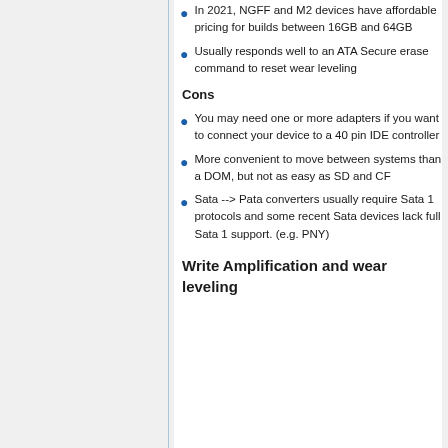In 2021, NGFF and M2 devices have affordable pricing for builds between 16GB and 64GB
Usually responds well to an ATA Secure erase command to reset wear leveling
Cons
You may need one or more adapters if you want to connect your device to a 40 pin IDE controller
More convenient to move between systems than a DOM, but not as easy as SD and CF
Sata --> Pata converters usually require Sata 1 protocols and some recent Sata devices lack full Sata 1 support. (e.g. PNY)
Write Amplification and wear leveling